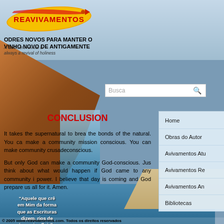[Figure (screenshot): Website screenshot of Reavivamentos.com showing logo, background landscape with waterfall and canyon, Portuguese site title, CONCLUSION section, navigation panel, search bar, and footer]
ODRES NOVOS PARA MANTER O VINHO NOVO DE ANTIGAMENTE
A God-sent revival is always a revival of holiness
CONCLUSION
It takes the supernatural to break the bonds of the natural. You can make a community mission-conscious. You can make a community crusade-conscious. But only God can make a community God-conscious. Just think about what would happen if God came to any community in power. I believe that day is coming and God prepare us all for it. Amen.
"Aquele que crê em Mim da forma que as Escrituras dizem, rios de água viva fluirão de seu ventre" João 7:38
Home
Obras do Autor
Avivamentos Atu
Avivamentos Re
Avivamentos An
Bibliotecas
© 2005 www.reavivamentos.com. Todos os direitos reservados